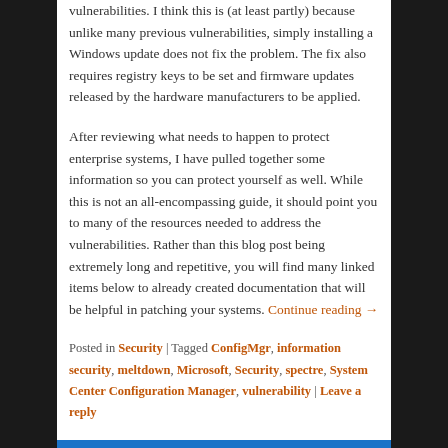vulnerabilities.  I think this is (at least partly) because unlike many previous vulnerabilities, simply installing a Windows update does not fix the problem.  The fix also requires registry keys to be set and firmware updates released by the hardware manufacturers to be applied.
After reviewing what needs to happen to protect enterprise systems, I have pulled together some information so you can protect yourself as well.  While this is not an all-encompassing guide, it should point you to many of the resources needed to address the vulnerabilities.    Rather than this blog post being extremely long and repetitive, you will find many linked items below to already created documentation that will be helpful in patching your systems.  Continue reading →
Posted in Security | Tagged ConfigMgr, information security, meltdown, Microsoft, Security, spectre, System Center Configuration Manager, vulnerability | Leave a reply